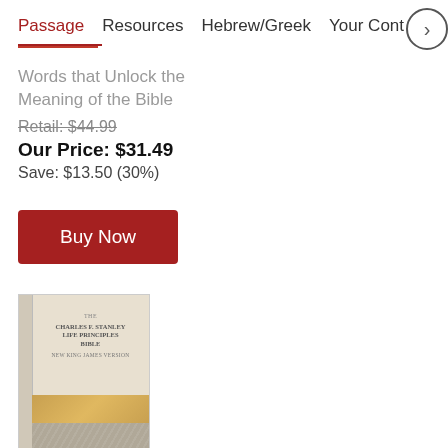Passage   Resources   Hebrew/Greek   Your Conte
Words that Unlock the Meaning of the Bible
Retail: $44.99
Our Price: $31.49
Save: $13.50 (30%)
Buy Now
[Figure (photo): Book cover of KJV Charles F. Stanley Life Principles Bible 2nd Edition with gold band and grey textured bottom]
KJV, Charles F. Stanley Life Principles Bible, 2nd Edition,